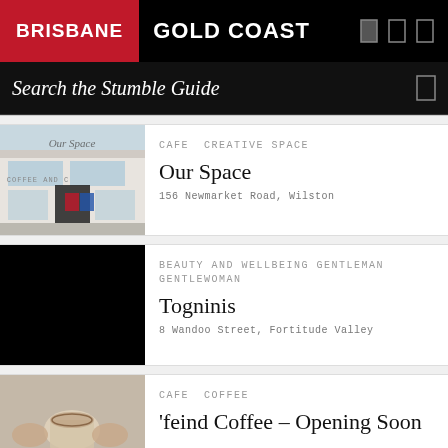BRISBANE  GOLD COAST
Search the Stumble Guide
CAFE  CREATIVE SPACE
Our Space
156 Newmarket Road, Wilston
BEAUTY AND WELLBEING  GENTLEMAN  GENTLEWOMAN
Togninis
8 Wandoo Street, Fortitude Valley
CAFE  COFFEE
'feind Coffee – Opening Soon